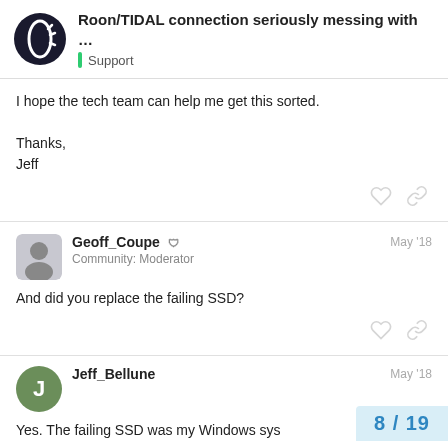Roon/TIDAL connection seriously messing with ... | Support
I hope the tech team can help me get this sorted.

Thanks,
Jeff
Geoff_Coupe Community: Moderator May '18
And did you replace the failing SSD?
Jeff_Bellune May '18
Yes. The failing SSD was my Windows sys
8 / 19